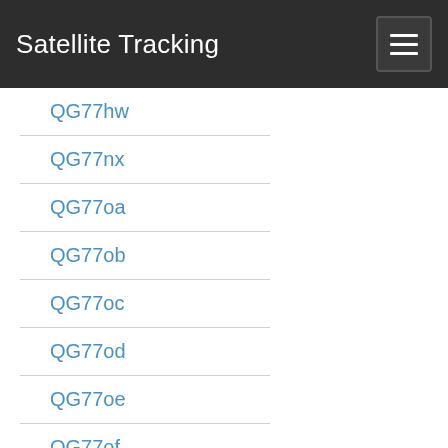Satellite Tracking
QG77hw
QG77nx
QG77oa
QG77ob
QG77oc
QG77od
QG77oe
QG77of
QG77og
QG77oh
QG77oi
QG77oj
QG77ok
QG77ol
QG77om
QG77on
QG77oo
QG77op